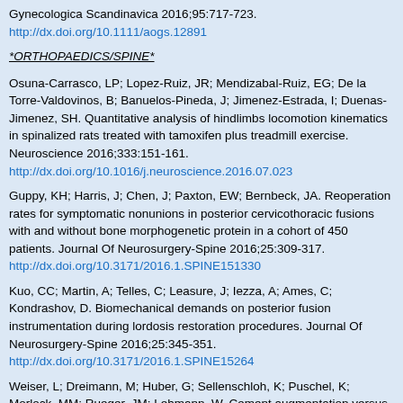Gynecologica Scandinavica 2016;95:717-723. http://dx.doi.org/10.1111/aogs.12891
*ORTHOPAEDICS/SPINE*
Osuna-Carrasco, LP; Lopez-Ruiz, JR; Mendizabal-Ruiz, EG; De la Torre-Valdovinos, B; Banuelos-Pineda, J; Jimenez-Estrada, I; Duenas-Jimenez, SH. Quantitative analysis of hindlimbs locomotion kinematics in spinalized rats treated with tamoxifen plus treadmill exercise. Neuroscience 2016;333:151-161. http://dx.doi.org/10.1016/j.neuroscience.2016.07.023
Guppy, KH; Harris, J; Chen, J; Paxton, EW; Bernbeck, JA. Reoperation rates for symptomatic nonunions in posterior cervicothoracic fusions with and without bone morphogenetic protein in a cohort of 450 patients. Journal Of Neurosurgery-Spine 2016;25:309-317. http://dx.doi.org/10.3171/2016.1.SPINE151330
Kuo, CC; Martin, A; Telles, C; Leasure, J; Iezza, A; Ames, C; Kondrashov, D. Biomechanical demands on posterior fusion instrumentation during lordosis restoration procedures. Journal Of Neurosurgery-Spine 2016;25:345-351. http://dx.doi.org/10.3171/2016.1.SPINE15264
Weiser, L; Dreimann, M; Huber, G; Sellenschloh, K; Puschel, K; Morlock, MM; Rueger, JM; Lehmann, W. Cement augmentation versus extended dorsal instrumentation in the treatment of osteoporotic vertebral fractures a biomechanical comparison. Bone & Joint Journal 2016;578B:. 1099-1105
http://dx.doi.org/10.1302/0301-620X.98B8.37413. Chien, A; Lai, DM;